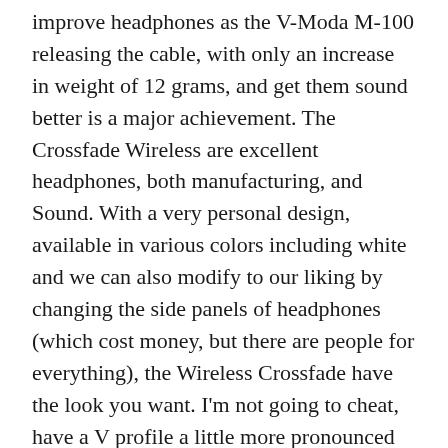improve headphones as the V-Moda M-100 releasing the cable, with only an increase in weight of 12 grams, and get them sound better is a major achievement. The Crossfade Wireless are excellent headphones, both manufacturing, and Sound. With a very personal design, available in various colors including white and we can also modify to our liking by changing the side panels of headphones (which cost money, but there are people for everything), the Wireless Crossfade have the look you want. I'm not going to cheat, have a V profile a little more pronounced next to the lower than the M-100, but that sound incredibly well.
Besides not being able to use through a Bluetooth connection while the load (and noise that appears if